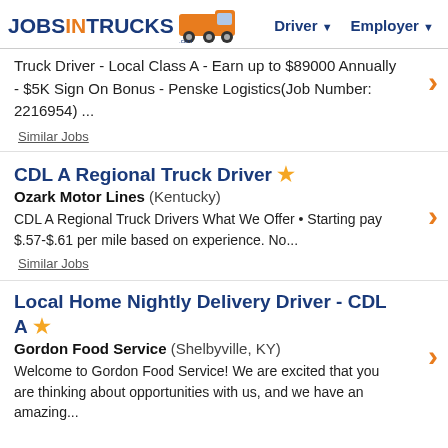JOBSINTRUCKS.COM | Driver ▼ | Employer ▼
Truck Driver - Local Class A - Earn up to $89000 Annually - $5K Sign On Bonus - Penske Logistics(Job Number: 2216954) ...
Similar Jobs
CDL A Regional Truck Driver ★
Ozark Motor Lines (Kentucky)
CDL A Regional Truck Drivers What We Offer • Starting pay $.57-$.61 per mile based on experience. No...
Similar Jobs
Local Home Nightly Delivery Driver - CDL A ★
Gordon Food Service (Shelbyville, KY)
Welcome to Gordon Food Service! We are excited that you are thinking about opportunities with us, and we have an amazing...